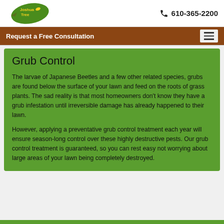Joshua Tree Expert - 610-365-2200
Request a Free Consultation
Grub Control
The larvae of Japanese Beetles and a few other related species, grubs are found below the surface of your lawn and feed on the roots of grass plants. The sad reality is that most homeowners don't know they have a grub infestation until irreversible damage has already happened to their lawn.
However, applying a preventative grub control treatment each year will ensure season-long control over these highly destructive pests. Our grub control treatment is guaranteed, so you can rest easy not worrying about large areas of your lawn being completely destroyed.